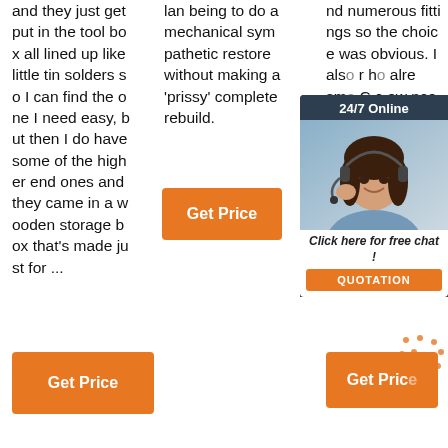and they just get put in the tool box all lined up like little tin solders so I can find the one I need easy, but then I do have some of the higher end ones and they came in a wooden storage box that's made just for ...
lan being to do a mechanical sympathetic restore without making a 'prissy' complete rebuild.
nd numerous fittings so the choice was obvious. I also r ho alre sma C c ow nce eap s just amazing!
[Figure (photo): 24/7 Online chat widget with woman wearing headset, Click here for free chat!, QUOTATION button]
[Figure (other): Orange Get Price button (middle column)]
[Figure (other): Orange Get Price button (left bottom)]
[Figure (other): Orange Get Price button (right bottom) with dot decoration]